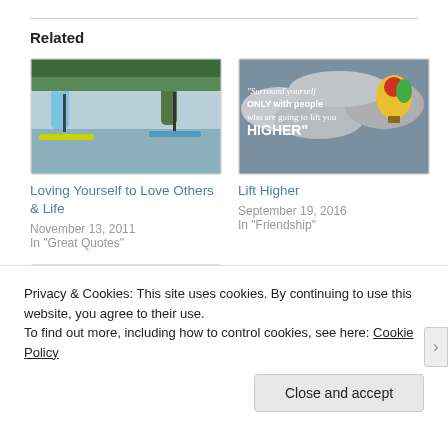Related
[Figure (photo): Two people stand-up paddleboarding on water]
Loving Yourself to Love Others & Life
November 13, 2011
In "Great Quotes"
[Figure (photo): Hot air balloon in cloudy sky with quote: Surround yourself ONLY with people who are going to lift you HIGHER]
Lift Higher
September 19, 2016
In "Friendship"
[Figure (photo): Family group photo outdoors]
Privacy & Cookies: This site uses cookies. By continuing to use this website, you agree to their use.
To find out more, including how to control cookies, see here: Cookie Policy